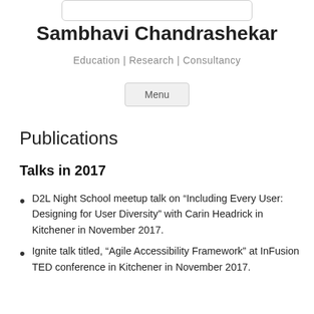Sambhavi Chandrashekar
Education | Research | Consultancy
Menu
Publications
Talks in 2017
D2L Night School meetup talk on “Including Every User: Designing for User Diversity” with Carin Headrick in Kitchener in November 2017.
Ignite talk titled, “Agile Accessibility Framework” at InFusion TED conference in Kitchener in November 2017.